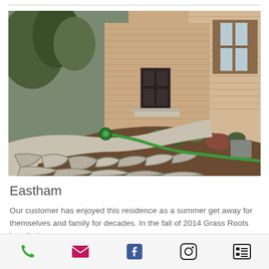[Figure (photo): A flagstone walkway leading to the front door of a house. The walkway is made of large irregular stone pavers with dark grout. A green garden hose is coiled and laid along the edge of a mulch garden bed. The house has tan/beige siding with brown shutters and a white trim. Trees and shrubs are visible in the background.]
Eastham
Our customer has enjoyed this residence as a summer get away for themselves and family for decades. In the fall of 2014 Grass Roots installed
Phone | Email | Facebook | Instagram | Menu